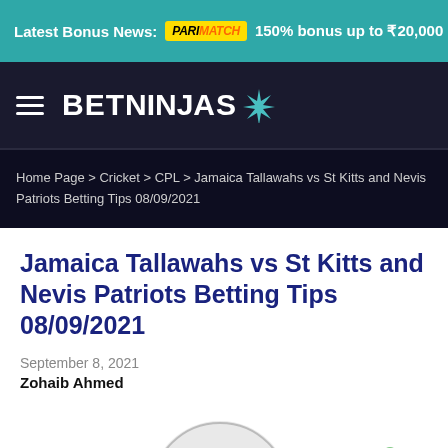Latest Bonus News: PARIMATCH 150% bonus up to ₹20,000 betwa...
[Figure (logo): BetNinjas logo with hamburger menu icon on dark navy background]
Home Page > Cricket > CPL > Jamaica Tallawahs vs St Kitts and Nevis Patriots Betting Tips 08/09/2021
Jamaica Tallawahs vs St Kitts and Nevis Patriots Betting Tips 08/09/2021
September 8, 2021
Zohaib Ahmed
[Figure (illustration): Partial cricket-themed illustration showing cricket ball and player figures at bottom of page]